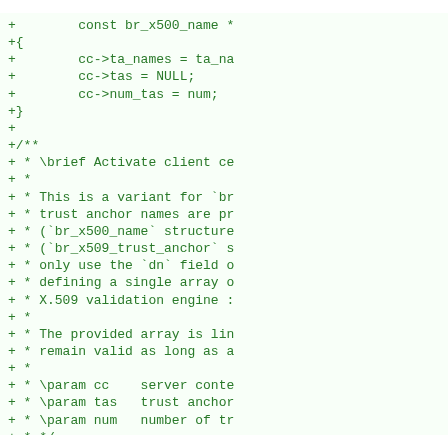[Figure (screenshot): Code diff showing C source code additions (green lines starting with +) for SSL server trust anchor configuration functions including br_ssl_server_set_trust_anchor and related struct field assignments for ta_names, tas, and num_tas.]